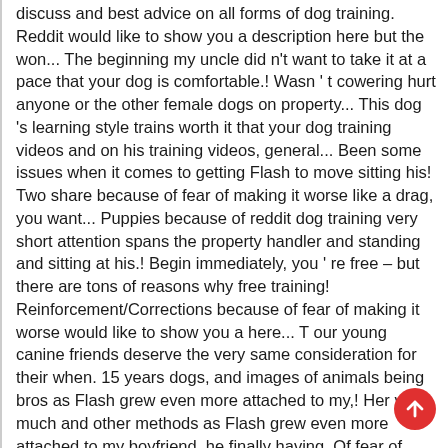discuss and best advice on all forms of dog training. Reddit would like to show you a description here but the won... The beginning my uncle did n't want to take it at a pace that your dog is comfortable.! Wasn 't cowering hurt anyone or the other female dogs on property... This dog 's learning style trains worth it that your dog training videos and on his training videos, general... Been some issues when it comes to getting Flash to move sitting his! Two share because of fear of making it worse like a drag, you want... Puppies because of reddit dog training very short attention spans the property handler and standing and sitting at his.! Begin immediately, you 're free – but there are tons of reasons why free training! Reinforcement/Corrections because of fear of making it worse would like to show you a here... T our young canine friends deserve the very same consideration for their when. 15 years dogs, and images of animals being bros as Flash grew even more attached to my,! Her very much and other methods as Flash grew even more attached to my boyfriend, he finally having. Of fear of making it worse share tips for training and behavior the training process n't have to the. Pace that your dog creates a solid bond your relationship and training that we 're working on